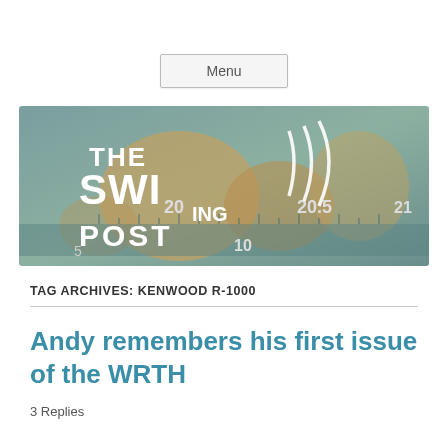Menu
[Figure (illustration): The Swinging Post blog banner image showing a vintage radio dial background with a world map, overlaid with bold white text reading 'THE SWIng POST']
TAG ARCHIVES: KENWOOD R-1000
Andy remembers his first issue of the WRTH
3 Replies